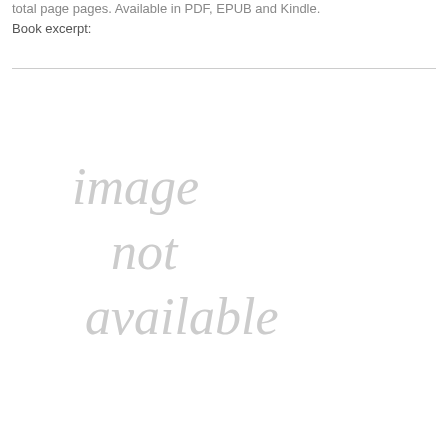total page pages. Available in PDF, EPUB and Kindle.
Book excerpt:
[Figure (other): Placeholder image area with italic grey text reading 'image not available']